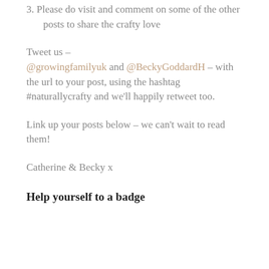3. Please do visit and comment on some of the other posts to share the crafty love
Tweet us –
@growingfamilyuk and @BeckyGoddardH – with the url to your post, using the hashtag #naturallycrafty and we'll happily retweet too.
Link up your posts below – we can't wait to read them!
Catherine & Becky x
Help yourself to a badge